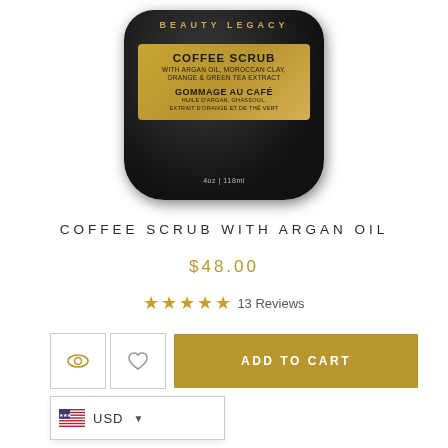[Figure (photo): Beauty Legacy Coffee Scrub product jar — dark/black container with gold label reading 'COFFEE SCRUB WITH ARGAN OIL, MOROCCAN CLAY, ORANGE & GREEN TEA EXTRACT / GOMMAGE AU CAFÉ HUILE D'ARGAN, GHASSOUL, EXTRAIT D'ORANGE ET DE THÉ VERT' and '4oz | 118ml']
COFFEE SCRUB WITH ARGAN OIL
$48.00
★★★★★ 13 Reviews
ADD TO CART
USD